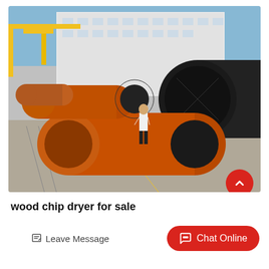[Figure (photo): Industrial rotary drum dryers (wood chip dryers) in orange and black colors laid on a factory yard. A man in white shirt stands next to the large cylindrical equipment for scale. Large industrial building visible in the background with a yellow overhead crane.]
wood chip dryer for sale
Leave Message
Chat Online